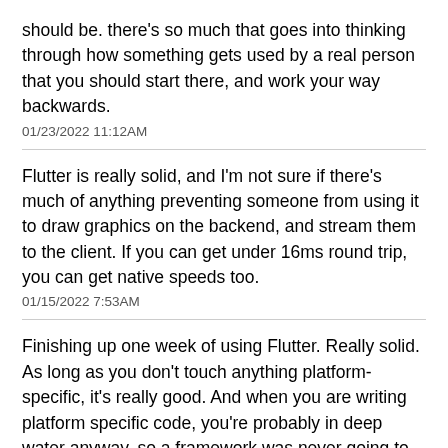should be. there's so much that goes into thinking through how something gets used by a real person that you should start there, and work your way backwards.
01/23/2022 11:12AM
Flutter is really solid, and I'm not sure if there's much of anything preventing someone from using it to draw graphics on the backend, and stream them to the client. If you can get under 16ms round trip, you can get native speeds too.
01/15/2022 7:53AM
Finishing up one week of using Flutter. Really solid. As long as you don't touch anything platform-specific, it's really good. And when you are writing platform specific code, you're probably in deep water anyway, so a framework was never going to save you. I really like Dart.